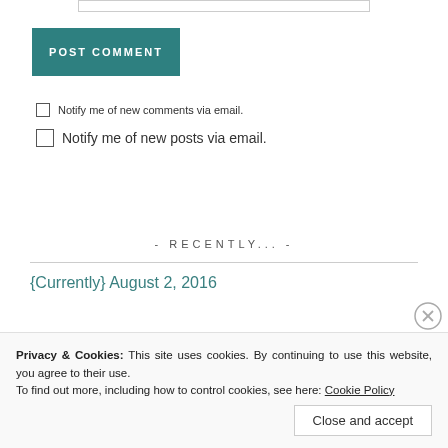POST COMMENT
Notify me of new comments via email.
Notify me of new posts via email.
- RECENTLY... -
{Currently} August 2, 2016
Privacy & Cookies: This site uses cookies. By continuing to use this website, you agree to their use.
To find out more, including how to control cookies, see here: Cookie Policy
Close and accept